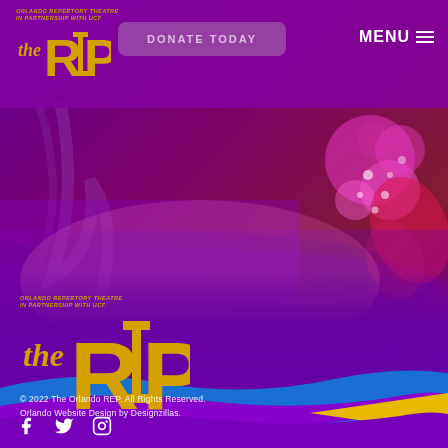[Figure (screenshot): Orlando REP website screenshot showing header navigation with logo, donate today button, and menu icon over a purple-magenta gradient background with theatrical stage photo]
[Figure (logo): The REP - Orlando Repertory Theatre in Partnership with UCF - large footer logo in gold/yellow]
© 2022 The Orlando REP. All Rights Reserved.
Orlando Website Design by Designzillas.